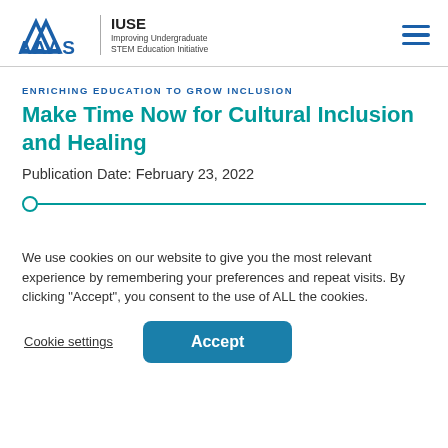[Figure (logo): AAAS logo with IUSE Improving Undergraduate STEM Education Initiative text and hamburger menu icon]
ENRICHING EDUCATION TO GROW INCLUSION
Make Time Now for Cultural Inclusion and Healing
Publication Date: February 23, 2022
We use cookies on our website to give you the most relevant experience by remembering your preferences and repeat visits. By clicking “Accept”, you consent to the use of ALL the cookies.
Cookie settings | Accept